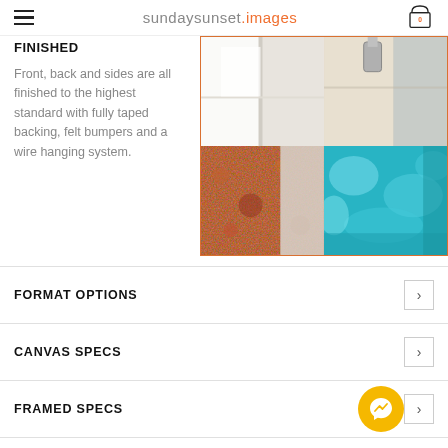sundaysunset.images — navigation header with hamburger menu and cart (0)
FINISHED
Front, back and sides are all finished to the highest standard with fully taped backing, felt bumpers and a wire hanging system.
[Figure (photo): Grid of four product photos showing canvas/framed print corners and edges: top-left shows white canvas corner, top-right shows glass/metal framed corner, bottom-left shows orange/red textured canvas corner, bottom-right shows teal/turquoise canvas corner.]
FORMAT OPTIONS
CANVAS SPECS
FRAMED SPECS
PRINT SPECS